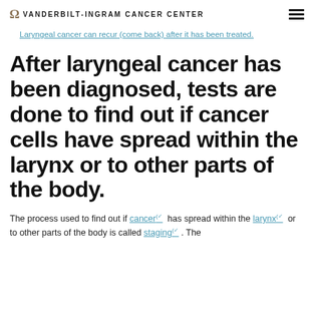VANDERBILT-INGRAM CANCER CENTER
Laryngeal cancer can recur (come back) after it has been treated.
After laryngeal cancer has been diagnosed, tests are done to find out if cancer cells have spread within the larynx or to other parts of the body.
The process used to find out if cancer has spread within the larynx or to other parts of the body is called staging. The